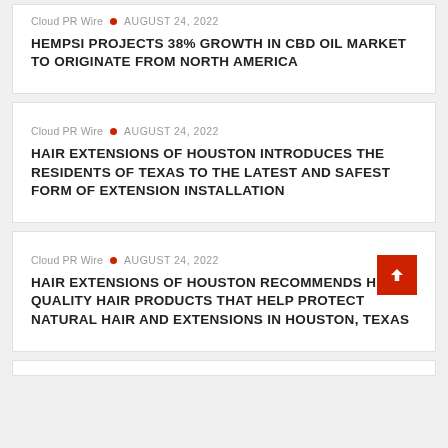Cloud PR Wire • AUGUST 24, 2022
HEMPSI PROJECTS 38% GROWTH IN CBD OIL MARKET TO ORIGINATE FROM NORTH AMERICA
Cloud PR Wire • AUGUST 24, 2022
HAIR EXTENSIONS OF HOUSTON INTRODUCES THE RESIDENTS OF TEXAS TO THE LATEST AND SAFEST FORM OF EXTENSION INSTALLATION
Cloud PR Wire • AUGUST 24, 2022
HAIR EXTENSIONS OF HOUSTON RECOMMENDS HIGH-QUALITY HAIR PRODUCTS THAT HELP PROTECT NATURAL HAIR AND EXTENSIONS IN HOUSTON, TEXAS